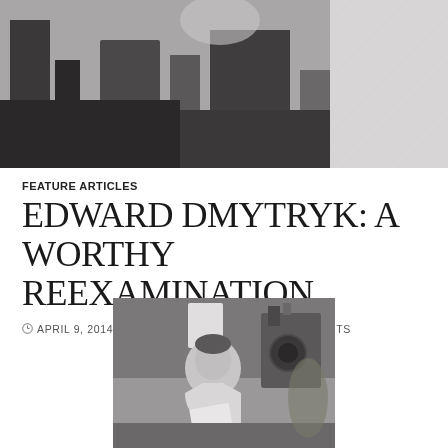[Figure (photo): Black and white photo at top of page showing a film set scene with equipment and figures, partially cropped]
FEATURE ARTICLES
EDWARD DMYTRYK: A WORTHY REEXAMINATION
APRIL 9, 2014  DWAYNE EPSTEIN  2 COMMENTS
[Figure (photo): Black and white photograph of Edward Dmytryk seated in front of a movie camera, holding papers, wearing a light blazer]